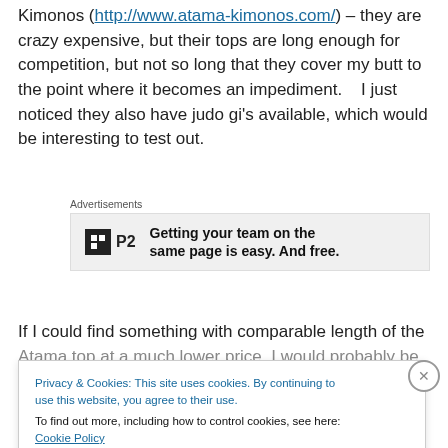Kimonos (http://www.atama-kimonos.com/) – they are crazy expensive, but their tops are long enough for competition, but not so long that they cover my butt to the point where it becomes an impediment.   I just noticed they also have judo gi's available, which would be interesting to test out.
[Figure (other): Advertisement box with P2 logo and text 'Getting your team on the same page is easy. And free.']
If I could find something with comparable length of the Atama top at a much lower price, I would probably be
Privacy & Cookies: This site uses cookies. By continuing to use this website, you agree to their use. To find out more, including how to control cookies, see here: Cookie Policy